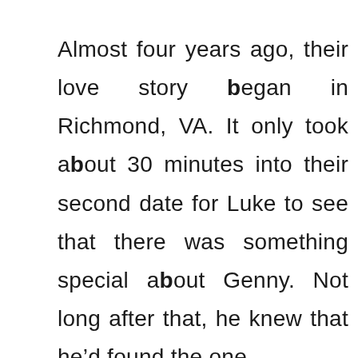Almost four years ago, their love story began in Richmond, VA. It only took about 30 minutes into their second date for Luke to see that there was something special about Genny. Not long after that, he knew that he'd found the one.

These two foodies light up the room together, and I'm sure when